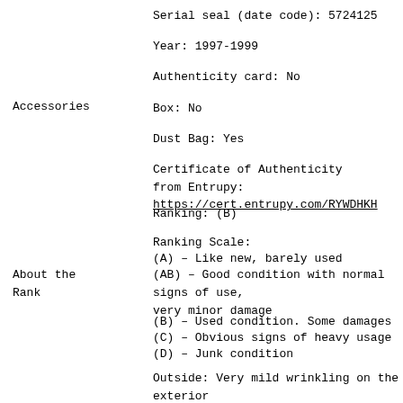Serial seal (date code): 5724125
Year: 1997-1999
Authenticity card: No
Accessories
Box: No
Dust Bag: Yes
Certificate of Authenticity from Entrupy: https://cert.entrupy.com/RYWDHKH
Ranking: (B)
Ranking Scale:
(A) – Like new, barely used
About the Rank
(AB) – Good condition with normal signs of use, very minor damage
(B) – Used condition. Some damages
(C) – Obvious signs of heavy usage
(D) – Junk condition
Outside: Very mild wrinkling on the exterior leather. Corners with no rubs. Very minor